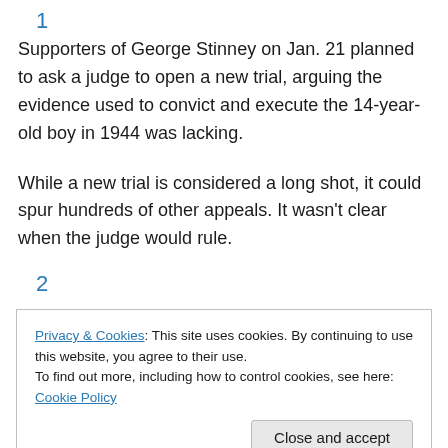1
Supporters of George Stinney on Jan. 21 planned to ask a judge to open a new trial, arguing the evidence used to convict and execute the 14-year-old boy in 1944 was lacking.
While a new trial is considered a long shot, it could spur hundreds of other appeals. It wasn't clear when the judge would rule.
2
Privacy & Cookies: This site uses cookies. By continuing to use this website, you agree to their use.
To find out more, including how to control cookies, see here: Cookie Policy
killing two white girls aged 7 and 11 in Alcolu, South